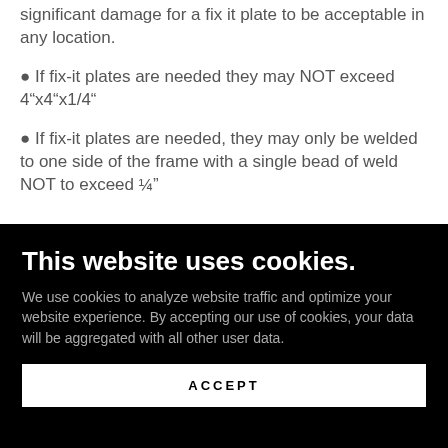significant damage for a fix it plate to be acceptable in any location.
If fix-it plates are needed they may NOT exceed 4"x4"x1/4"
If fix-it plates are needed, they may only be welded to one side of the frame with a single bead of weld NOT to exceed ¼"
This website uses cookies.
We use cookies to analyze website traffic and optimize your website experience. By accepting our use of cookies, your data will be aggregated with all other user data.
ACCEPT